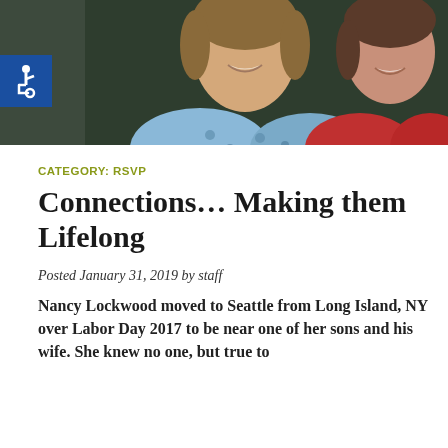[Figure (photo): Two smiling women posing together for a photo. The woman on the left wears a blue and white patterned top; the woman on the right wears a red/pink turtleneck sweater. A blue accessibility icon badge is overlaid on the lower-left of the image.]
CATEGORY: RSVP
Connections… Making them Lifelong
Posted January 31, 2019 by staff
Nancy Lockwood moved to Seattle from Long Island, NY over Labor Day 2017 to be near one of her sons and his wife. She knew no one, but true to